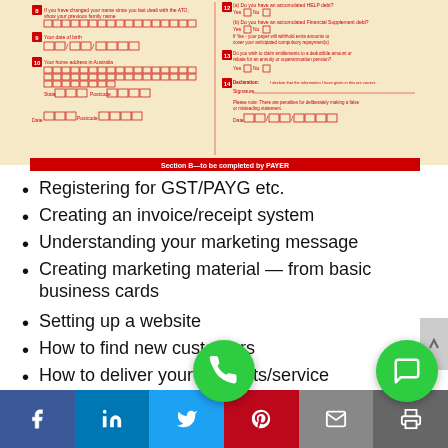[Figure (other): Australian Tax Office form image showing Section B fields including name, date of birth, home address, and HELP/Financial Supplement debt questions with checkboxes and signature area. Red header bar at bottom reads 'Section B—to be completed by PAYER'.]
Registering for GST/PAYG etc.
Creating an invoice/receipt system
Understanding your marketing message
Creating marketing material — from basic business cards
Setting up a website
How to find new customers
How to deliver your products/service
Invoicing and payments
Monthly reconciliatio…
Facebook | LinkedIn | Twitter | Pinterest | Email | Print